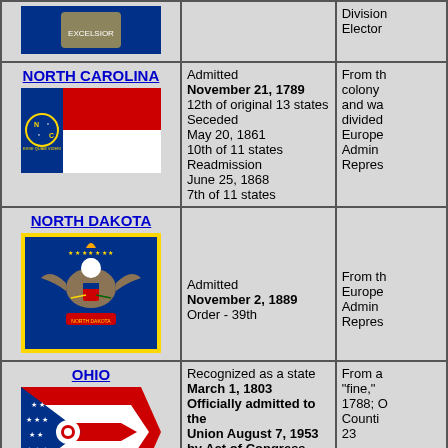| State/Flag | Admission Info | Additional Info |
| --- | --- | --- |
| [NY flag partial] |  | Division
Elector |
| NORTH CAROLINA
[NC flag] | Admitted
November 21, 1789
12th of original 13 states
Seceded
May 20, 1861
10th of 11 states
Readmission
June 25, 1868
7th of 11 states | From th
colony
and wa
divided
Europe
Admin
Repres |
| NORTH DAKOTA
[ND flag] | Admitted
November 2, 1889
Order - 39th | From th
Europe
Admin
Repres |
| OHIO
[OH flag] | Recognized as a state
March 1, 1803
Officially admitted to the
Union August 7, 1953
by Act of Congress,
Retroactive to | From a
"fine,"
1788; O
Counti
23 |